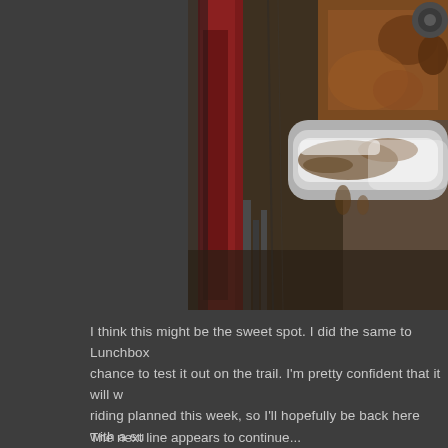[Figure (photo): Close-up photo of a muddy, rusty bicycle component (likely a bottom bracket or frame junction area) with red and white/silver metal parts visible, covered in dirt and mud.]
I think this might be the sweet spot. I did the same to Lunchbox... chance to test it out on the trail. I'm pretty confident that it will w... riding planned this week, so I'll hopefully be back here with a su... work, then I guess The Dirty Party Cycle will be bringing his bik...
The next line appears to continue at the bottom...